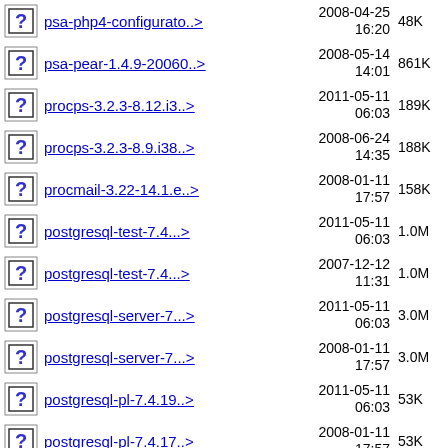psa-php4-configurato..> 2008-04-25 16:20 48K
psa-pear-1.4.9-20060..> 2008-05-14 14:01 861K
procps-3.2.3-8.12.i3..> 2011-05-11 06:03 189K
procps-3.2.3-8.9.i38..> 2008-06-24 14:35 188K
procmail-3.22-14.1.e..> 2008-01-11 17:57 158K
postgresql-test-7.4...> 2011-05-11 06:03 1.0M
postgresql-test-7.4...> 2007-12-12 11:31 1.0M
postgresql-server-7...> 2011-05-11 06:03 3.0M
postgresql-server-7...> 2008-01-11 17:57 3.0M
postgresql-pl-7.4.19..> 2011-05-11 06:03 53K
postgresql-pl-7.4.17..> 2008-01-11 17:57 53K